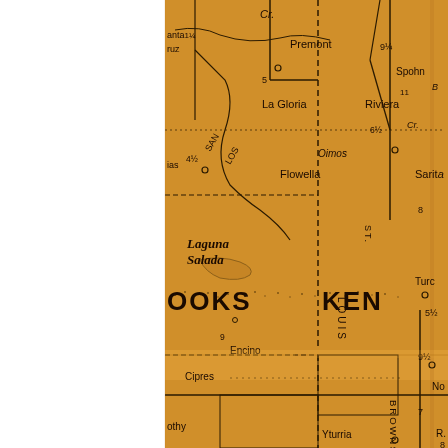[Figure (map): Vintage orange-tinted road/county map of South Texas showing portions of Brooks and Kenedy counties. Visible place names include: Premont, La Gloria, Riviera, Spohn, Oimos, Flowella, Sarita, Laguna Salada, Encino, Cipres, Yturria, and partial county names BROOKS and KENEDY. Roads marked with distances (5, 9¼, 11, 6½, 4½, 8, 5½, 9½, 7, 8). Route labels include San Louis St. and Brownsville road. Dashed lines indicate county boundaries. Map shows rivers/creeks (Cr.) and small town markers.]